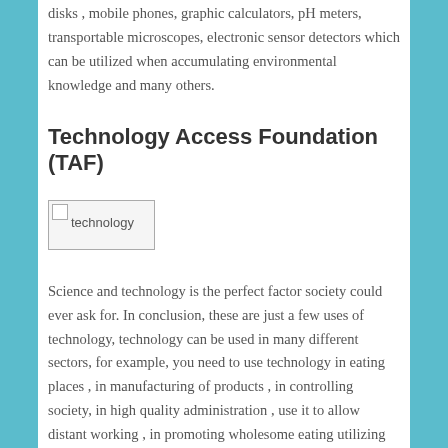disks , mobile phones, graphic calculators, pH meters, transportable microscopes, electronic sensor detectors which can be utilized when accumulating environmental knowledge and many others.
Technology Access Foundation (TAF)
[Figure (photo): Broken image placeholder labeled 'technology']
Science and technology is the perfect factor society could ever ask for. In conclusion, these are just a few uses of technology, technology can be used in many different sectors, for example, you need to use technology in eating places , in manufacturing of products , in controlling society, in high quality administration , use it to allow distant working , in promoting wholesome eating utilizing net-technologies